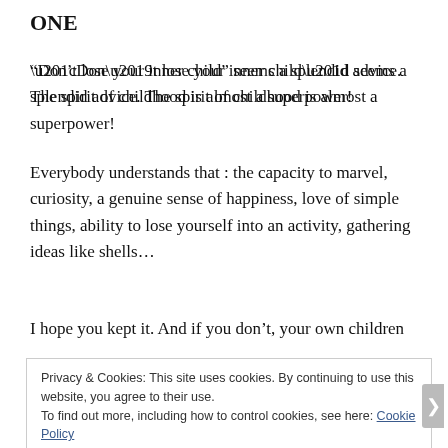ONE
“Don’t lose your inner child” seems a splendid advice. The spirit of childhood is almost a superpower!
Everybody understands that : the capacity to marvel, curiosity, a genuine sense of happiness, love of simple things, ability to lose yourself into an activity, gathering ideas like shells…
I hope you kept it. And if you don’t, your own children
Privacy & Cookies: This site uses cookies. By continuing to use this website, you agree to their use.
To find out more, including how to control cookies, see here: Cookie Policy
Close and accept